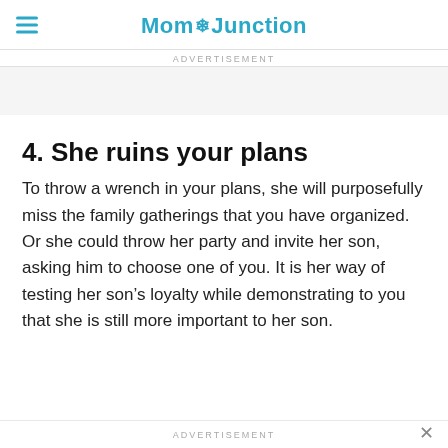MomJunction
ADVERTISEMENT
4. She ruins your plans
To throw a wrench in your plans, she will purposefully miss the family gatherings that you have organized. Or she could throw her party and invite her son, asking him to choose one of you. It is her way of testing her son’s loyalty while demonstrating to you that she is still more important to her son.
ADVERTISEMENT